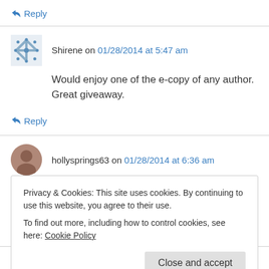↳ Reply
Shirene on 01/28/2014 at 5:47 am
Would enjoy one of the e-copy of any author. Great giveaway.
↳ Reply
hollysprings63 on 01/28/2014 at 6:36 am
Privacy & Cookies: This site uses cookies. By continuing to use this website, you agree to their use. To find out more, including how to control cookies, see here: Cookie Policy
Close and accept
cumquat342003 on 01/28/2014 at 9:21 am